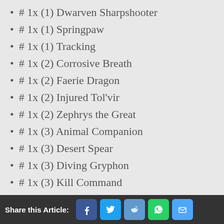# 1x (1) Dwarven Sharpshooter
# 1x (1) Springpaw
# 1x (1) Tracking
# 1x (2) Corrosive Breath
# 1x (2) Faerie Dragon
# 1x (2) Injured Tol'vir
# 1x (2) Zephrys the Great
# 1x (3) Animal Companion
# 1x (3) Desert Spear
# 1x (3) Diving Gryphon
# 1x (3) Kill Command
Share this Article: